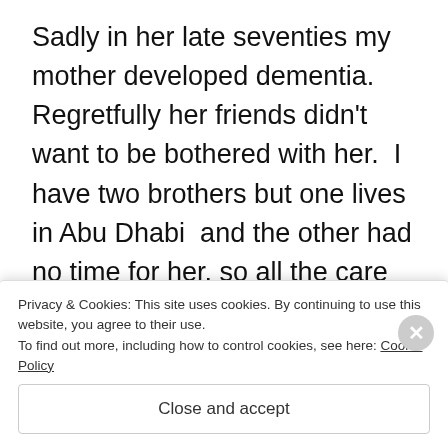Sadly in her late seventies my mother developed dementia. Regretfully her friends didn't want to be bothered with her.  I have two brothers but one lives in Abu Dhabi  and the other had no time for her, so all the care fell onto me and Lesley. My mother lived out in the country and was very isolated, but one neighbour, a younger person, was brilliant with h...
Privacy & Cookies: This site uses cookies. By continuing to use this website, you agree to their use.
To find out more, including how to control cookies, see here: Cookie Policy
Close and accept